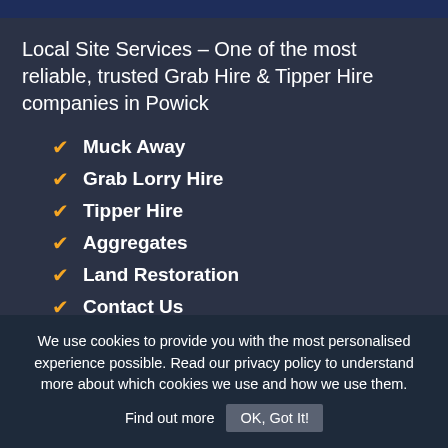Local Site Services – One of the most reliable, trusted Grab Hire & Tipper Hire companies in Powick
Muck Away
Grab Lorry Hire
Tipper Hire
Aggregates
Land Restoration
Contact Us
We use cookies to provide you with the most personalised experience possible. Read our privacy policy to understand more about which cookies we use and how we use them. Find out more  OK, Got It!